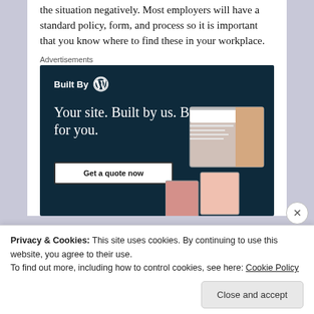the situation negatively. Most employers will have a standard policy, form, and process so it is important that you know where to find these in your workplace.
Advertisements
[Figure (illustration): WordPress 'Built By' advertisement banner with dark navy background showing text 'Built By WP', headline 'Your site. Built by us. Built for you.', a 'Get a quote now' button, and mock website/portfolio screenshots on the right side.]
Privacy & Cookies:  This site uses cookies.  By continuing to use this website, you agree to their use.
To find out more, including how to control cookies, see here: Cookie Policy
Close and accept